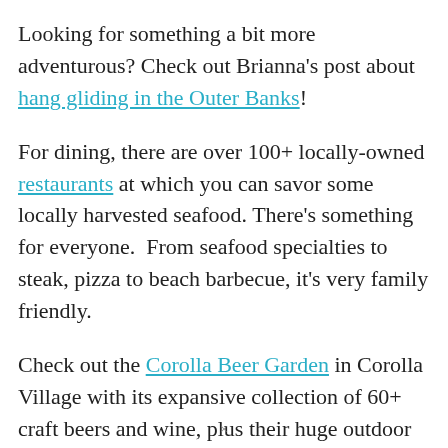Looking for something a bit more adventurous? Check out Brianna's post about hang gliding in the Outer Banks!
For dining, there are over 100+ locally-owned restaurants at which you can savor some locally harvested seafood. There's something for everyone.  From seafood specialties to steak, pizza to beach barbecue, it's very family friendly.
Check out the Corolla Beer Garden in Corolla Village with its expansive collection of 60+ craft beers and wine, plus their huge outdoor
×